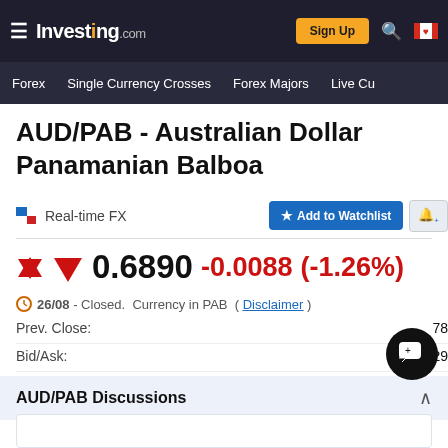Investing.com — Sign Up | Forex | Single Currency Crosses | Forex Majors | Live Cu...
AUD/PAB - Australian Dollar Panamanian Balboa
Real-time FX — Add to Watchlist
0.6890  -0.0088  (-1.26%)
26/08 - Closed.  Currency in PAB  ( Disclaimer )
Prev. Close:
Bid/Ask:  0.6 ... 29
AUD/PAB Discussions